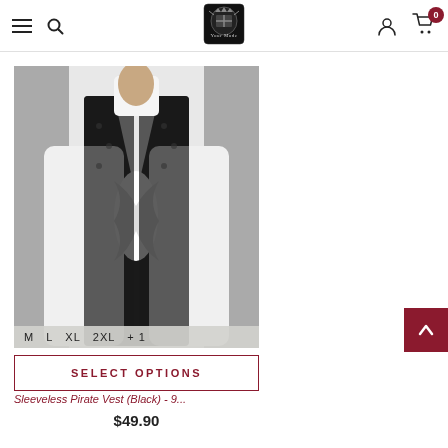Navigation bar with hamburger menu, search icon, store logo, user icon, and cart (0 items)
[Figure (photo): Person wearing a black sleeveless brocade pirate vest over a white ruffled shirt with billowy sleeves, shown from chest up against a grey background. Size options M L XL 2XL +1 shown at bottom of image.]
SELECT OPTIONS
Sleeveless Pirate Vest (Black) - 9...
$49.90